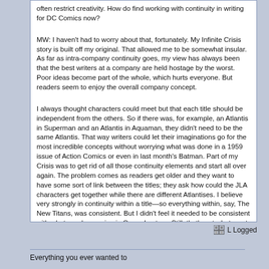often restrict creativity. How do find working with continuity in writing for DC Comics now?

MW: I haven't had to worry about that, fortunately. My Infinite Crisis story is built off my original. That allowed me to be somewhat insular. As far as intra-company continuity goes, my view has always been that the best writers at a company are held hostage by the worst. Poor ideas become part of the whole, which hurts everyone. But readers seem to enjoy the overall company concept.

I always thought characters could meet but that each title should be independent from the others. So if there was, for example, an Atlantis in Superman and an Atlantis in Aquaman, they didn't need to be the same Atlantis. That way writers could let their imaginations go for the most incredible concepts without worrying what was done in a 1959 issue of Action Comics or even in last month's Batman. Part of my Crisis was to get rid of all those continuity elements and start all over again. The problem comes as readers get older and they want to have some sort of link between the titles; they ask how could the JLA characters get together while there are different Atlantises. I believe very strongly in continuity within a title—so everything within, say, The New Titans, was consistent. But I didn't feel it needed to be consistent with what was happening in Green Lantern. Still, that's not what most readers like, so I've never written books with that attitude. But if I had my druthers....
Logged
Everything you ever wanted to